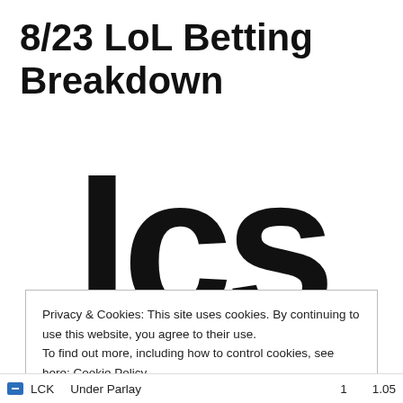8/23 LoL Betting Breakdown
[Figure (logo): LCS logo text in large bold black letters, partially cropped]
Privacy & Cookies: This site uses cookies. By continuing to use this website, you agree to their use.
To find out more, including how to control cookies, see here: Cookie Policy
Close and accept
LCK   Under Parlay   1   1.05